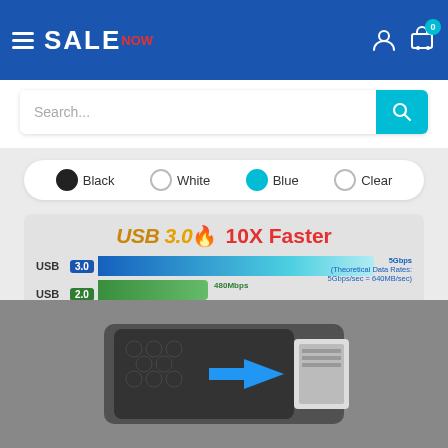SALE NOW
Search...
[Figure (other): Color selector with four options: Black, White, Blue, Clear]
[Figure (bar-chart): USB 3.0 10X Faster]
Tool Free Design
Allow to mount Hard Drive in seconds without Tools and Screws
[Figure (photo): Hard drive enclosure with blue arrow showing tool-free insertion]